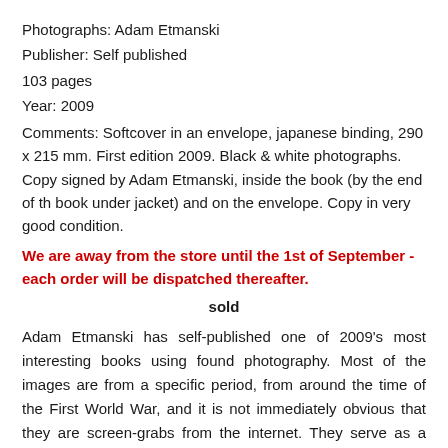Photographs: Adam Etmanski
Publisher: Self published
103 pages
Year: 2009
Comments: Softcover in an envelope, japanese binding, 290 x 215 mm. First edition 2009. Black & white photographs. Copy signed by Adam Etmanski, inside the book (by the end of th book under jacket) and on the envelope. Copy in very good condition.
We are away from the store until the 1st of September - each order will be dispatched thereafter.
sold
Adam Etmanski has self-published one of 2009's most interesting books using found photography. Most of the images are from a specific period, from around the time of the First World War, and it is not immediately obvious that they are screen-grabs from the internet. They serve as a rendition of to Thomas Pynchon's novel Against the Day, in which images gather around political